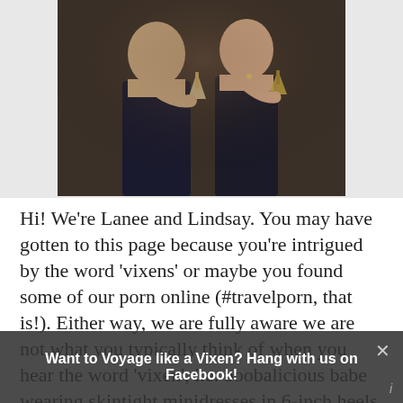[Figure (photo): Two women holding wine/cocktail glasses, photographed from mid-body up, dark background, casual social setting.]
Hi! We're Lanee and Lindsay. You may have gotten to this page because you're intrigued by the word 'vixens' or maybe you found some of our porn online (#travelporn, that is!). Either way, we are fully aware we are not what you typically think of when you hear the word 'vixen', i.e. boobalicious babe wearing skintight minidresses in 6-inch heels. In our book, you don't need DDs to be a VV. To us -- vixens are smart and sassy women (and men, why not?!) who take action, scared sh*tless or not, to turn their dreams into realities. Now you know a little about us; we'd like to get to know you. Connect with us on
Want to Voyage like a Vixen? Hang with us on Facebook!